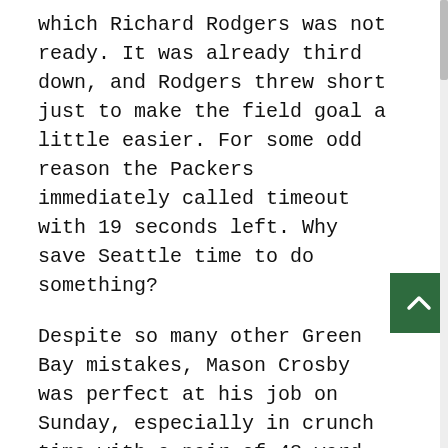which Richard Rodgers was not ready. It was already third down, and Rodgers threw short just to make the field goal a little easier. For some odd reason the Packers immediately called timeout with 19 seconds left. Why save Seattle time to do something?
Despite so many other Green Bay mistakes, Mason Crosby was perfect at his job on Sunday, especially in crunch time with a pair of 48-yard field goals in the fourth quarter, including the game-tying kick with 14 seconds left. Seattle would have killed for overtime most of the day, but it was almost a disappointment to the team now. For fans, it was a perfect way to end this one.
The Overtime
Seattle won the toss and chose to receive, of course. Baldwin returned the kickoff to the 13, which is the